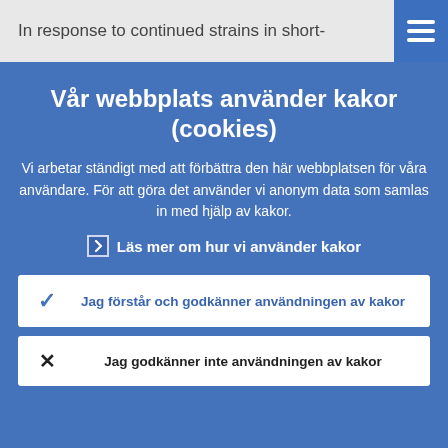In response to continued strains in short-
Vår webbplats använder kakor (cookies)
Vi arbetar ständigt med att förbättra den här webbplatsen för våra användare. För att göra det använder vi anonym data som samlas in med hjälp av kakor.
Läs mer om hur vi använder kakor
Jag förstår och godkänner användningen av kakor
Jag godkänner inte användningen av kakor